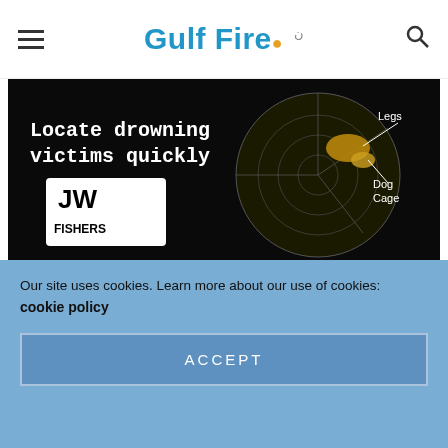Gulf Fire
[Figure (photo): JW Fishers advertisement — sonar image showing drowning victim search. Text: 'Locate drowning victims quickly', labels 'Legs' and 'Dog Cage' on sonar display, JW Fishers logo.]
[Figure (photo): Blue/teal building exterior photograph — modern architecture with windows.]
[Figure (infographic): Ready Rack advertisement. Red background with image of red double-sided mobile rack on left. Bold white text: 'DOUBLE THE SIDES DOUBLE THE SPACE'. Subtitle: 'DOUBLE SIDED MOBILE RED RACKS'. Yellow button: 'CLICK HERE'. Ready Rack logo top right.]
Our site uses cookies. Learn more about our use of cookies: cookie policy
ACCEPT